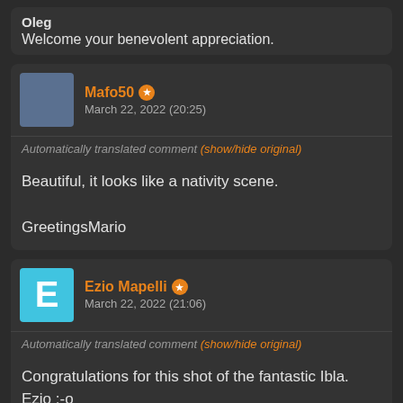Oleg
Welcome your benevolent appreciation.
Mafo50 | March 22, 2022 (20:25)
Automatically translated comment (show/hide original)
Beautiful, it looks like a nativity scene.
GreetingsMario
Ezio Mapelli | March 22, 2022 (21:06)
Automatically translated comment (show/hide original)
Congratulations for this shot of the fantastic Ibla.
Ezio :-o
Ema49 | March 22, 2022 (21:43)
Automatically translated comment (show/hide original)